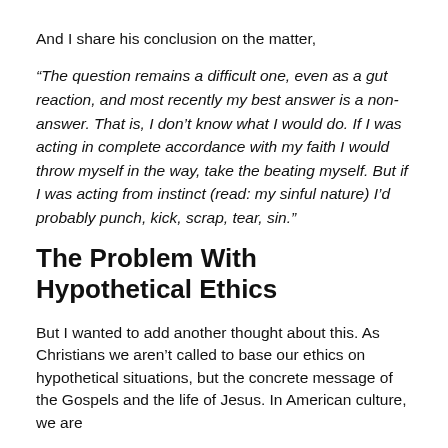And I share his conclusion on the matter,
“The question remains a difficult one, even as a gut reaction, and most recently my best answer is a non-answer. That is, I don’t know what I would do. If I was acting in complete accordance with my faith I would throw myself in the way, take the beating myself. But if I was acting from instinct (read: my sinful nature) I’d probably punch, kick, scrap, tear, sin.”
The Problem With Hypothetical Ethics
But I wanted to add another thought about this. As Christians we aren’t called to base our ethics on hypothetical situations, but the concrete message of the Gospels and the life of Jesus. In American culture, we are